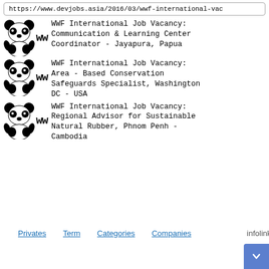https://www.devjobs.asia/2016/03/wwf-international-vac
WWF International Job Vacancy: Communication & Learning Center Coordinator - Jayapura, Papua
WWF International Job Vacancy: Area - Based Conservation Safeguards Specialist, Washington DC - USA
WWF International Job Vacancy: Regional Advisor for Sustainable Natural Rubber, Phnom Penh - Cambodia
Privates   Term   Categories   Companies   infolinks